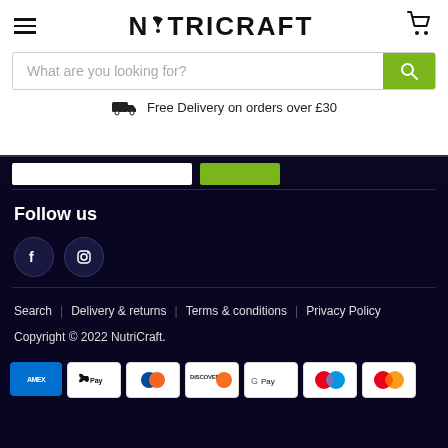NUTRICRAFT
What are you looking for?
Free Delivery on orders over £30
Follow us
[Figure (logo): Facebook and Instagram social media icons (circles with f and camera icons)]
Search | Delivery & returns | Terms & conditions | Privacy Policy
Copyright © 2022 NutriCraft.
[Figure (other): Payment method icons: AMEX, Apple Pay, Diners Club, Discover, Google Pay, Maestro, Mastercard]